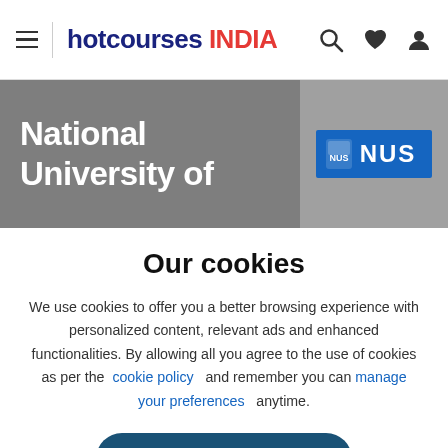hotcourses INDIA
National University of
Our cookies
We use cookies to offer you a better browsing experience with personalized content, relevant ads and enhanced functionalities. By allowing all you agree to the use of cookies as per the cookie policy and remember you can manage your preferences anytime.
ALLOW ALL